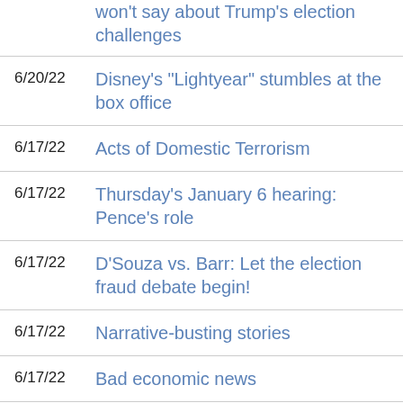[partial] won't say about Trump's election challenges
6/20/22 Disney's "Lightyear" stumbles at the box office
6/17/22 Acts of Domestic Terrorism
6/17/22 Thursday's January 6 hearing: Pence's role
6/17/22 D'Souza vs. Barr: Let the election fraud debate begin!
6/17/22 Narrative-busting stories
6/17/22 Bad economic news